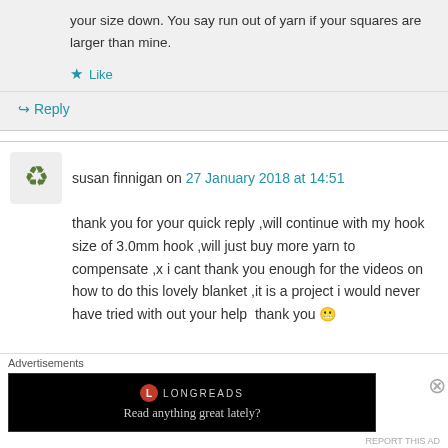your size down. You say run out of yarn if your squares are larger than mine.
Like
Reply
susan finnigan on 27 January 2018 at 14:51
thank you for your quick reply ,will continue with my hook size of 3.0mm hook ,will just buy more yarn to compensate ,x i cant thank you enough for the videos on how to do this lovely blanket ,it is a project i would never have tried with out your help  thank you 😬
Advertisements
LONGREADS
Read anything great lately?